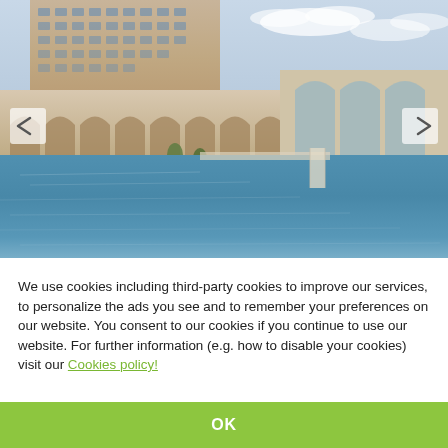[Figure (photo): Hotel resort with large swimming pool in the foreground, arched colonnade building in the middle, multi-story hotel tower in the background, outdoor seating area with umbrellas, blue sky with clouds]
We use cookies including third-party cookies to improve our services, to personalize the ads you see and to remember your preferences on our website. You consent to our cookies if you continue to use our website. For further information (e.g. how to disable your cookies) visit our Cookies policy!
OK